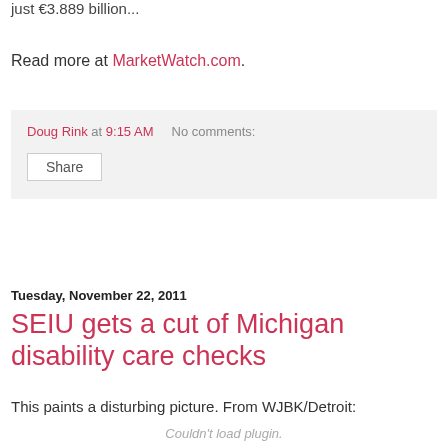just €3.889 billion...
Read more at MarketWatch.com.
Doug Rink at 9:15 AM   No comments:
Share
Tuesday, November 22, 2011
SEIU gets a cut of Michigan disability care checks
This paints a disturbing picture. From WJBK/Detroit:
Couldn't load plugin.